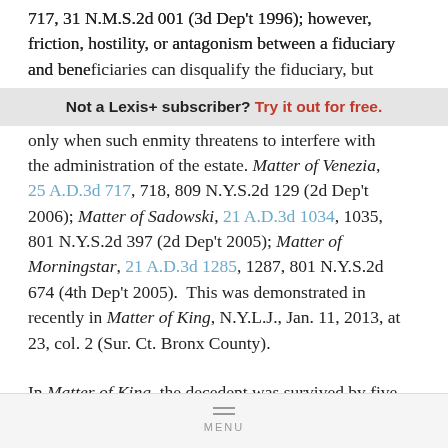717, 31 N.M.S.2d 001 (3d Dep't 1996); however, friction, hostility, or antagonism between a fiduciary and beneficiaries can disqualify the fiduciary, but only when such enmity threatens to interfere with the administration of the estate. Matter of Venezia, 25 A.D.3d 717, 718, 809 N.Y.S.2d 129 (2d Dep't 2006); Matter of Sadowski, 21 A.D.3d 1034, 1035, 801 N.Y.S.2d 397 (2d Dep't 2005); Matter of Morningstar, 21 A.D.3d 1285, 1287, 801 N.Y.S.2d 674 (4th Dep't 2005). This was demonstrated in recently in Matter of King, N.Y.L.J., Jan. 11, 2013, at 23, col. 2 (Sur. Ct. Bronx County).
In Matter of King, the decedent was survived by five children. Prior to his death, two of his children - a son and a daughter - were embroiled in a bitter
MENU